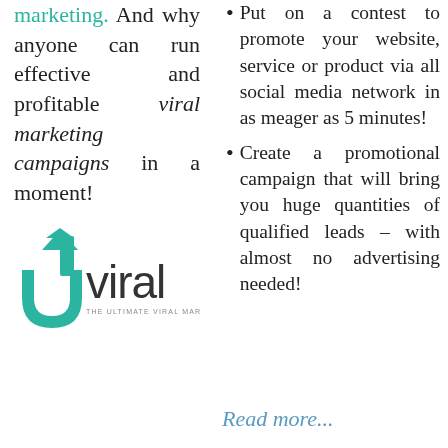marketing. And why anyone can run effective and profitable viral marketing campaigns in a moment!
[Figure (logo): UpViral logo — teal arrow-up icon with 'upviral' text and tagline 'THE ULTIMATE VIRAL MARKETING SYSTEM!']
Put on a contest to promote your website, service or product via all social media network in as meager as 5 minutes!
Create a promotional campaign that will bring you huge quantities of qualified leads – with almost no advertising needed!
Read more...